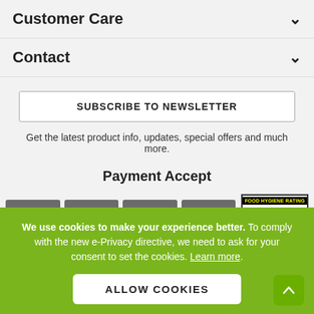Customer Care
Contact
SUBSCRIBE TO NEWSLETTER
Get the latest product info, updates, special offers and much more.
Payment Accept
[Figure (other): Payment method icons: Alipay, VISA, MasterCard, PayPal, and Food Hygiene Rating 5]
We use cookies to make your experience better. To comply with the new e-Privacy directive, we need to ask for your consent to set the cookies. Learn more.
ALLOW COOKIES